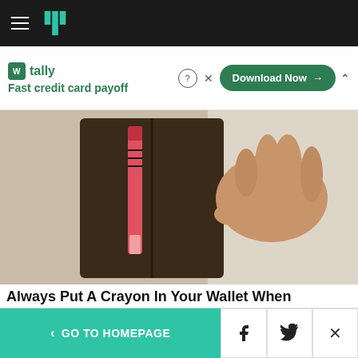HuffPost navigation bar with hamburger menu and logo
[Figure (screenshot): Tally ad banner: Fast credit card payoff with Download Now button]
[Figure (photo): A hand holding an open wallet with a crayon inside, viewed from above on a light surface]
Always Put A Crayon In Your Wallet When Traveling
SoGoodly
[Figure (photo): Partial view of a person's head/face, cropped at bottom of page]
< GO TO HOMEPAGE | Facebook | Twitter | X